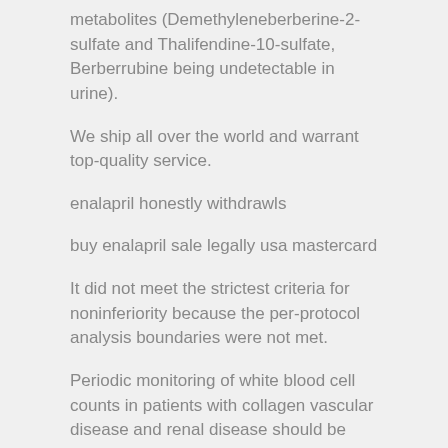metabolites (Demethyleneberberine-2-sulfate and Thalifendine-10-sulfate, Berberrubine being undetectable in urine).
We ship all over the world and warrant top-quality service.
enalapril honestly withdrawls
buy enalapril sale legally usa mastercard
It did not meet the strictest criteria for noninferiority because the per-protocol analysis boundaries were not met.
Periodic monitoring of white blood cell counts in patients with collagen vascular disease and renal disease should be considered.
Kahan, 28, is a deputy district attorney in Martinez, Calif.
ACE inhibitors and angiotensin receptor blockers also reduce blood pressure and they have been around approximately 40 years.